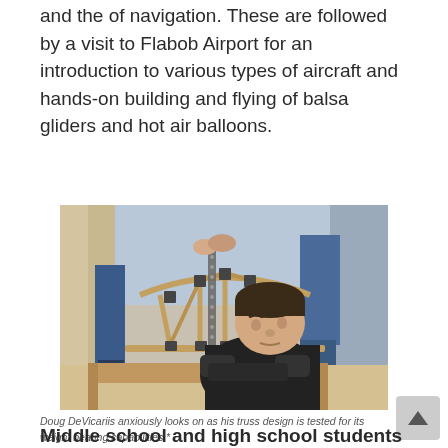and the of navigation. These are followed by a visit to Flabob Airport for an introduction to various types of aircraft and hands-on building and flying of balsa gliders and hot air balloons.
[Figure (photo): A young student (Doug DeVicariis) crouching down and closely examining a wooden truss bridge structure being tested for weight bearing. The truss is made of wood sticks with metal connectors, placed on a wooden base. Other people's legs are visible in the background.]
Doug DeVicariis anxiously looks on as his truss design is tested for its weight bearing capabilities.*
Middle school and high school students